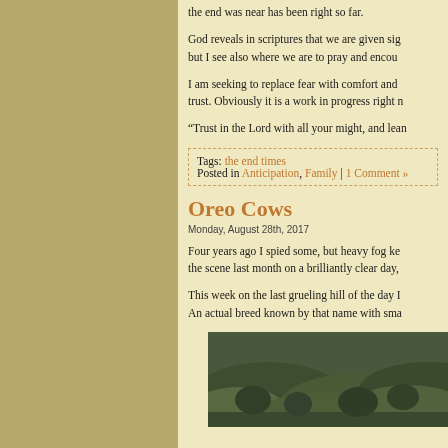the end was near has been right so far.
God reveals in scriptures that we are given signs, but I see also where we are to pray and encourage...
I am seeking to replace fear with comfort and trust. Obviously it is a work in progress right now.
“Trust in the Lord with all your might, and lean...
Tags: the end times
Posted in Anticipation, Family | 1 Comment »
Oreo Cows
Monday, August 28th, 2017
Four years ago I spied some, but heavy fog kept the scene last month on a brilliantly clear day,
This week on the last grueling hill of the day I... An actual breed known by that name with small...
[Figure (photo): A landscape photo showing rolling green hills with trees, appears foggy or overcast, dark tones of green and brown]